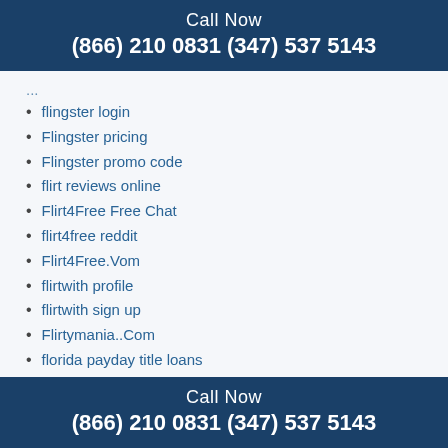Call Now
(866) 210 0831 (347) 537 5143
flingster login
Flingster pricing
Flingster promo code
flirt reviews online
Flirt4Free Free Chat
flirt4free reddit
Flirt4Free.Vom
flirtwith profile
flirtwith sign up
Flirtymania..Com
florida payday title loans
Fotomontaje De Amor En Linea
free asian dating site in usa
Free Best Dating Site
Free Mail Order Bride Sites
Free Online Indian Dreaming Slot Machine
Call Now
(866) 210 0831 (347) 537 5143